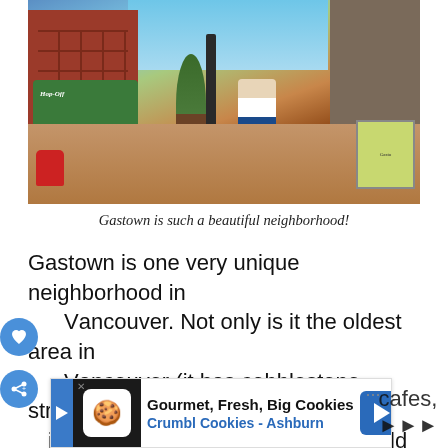[Figure (photo): A woman walking on cobblestone streets in Gastown, Vancouver. Red fire hydrant in foreground left, lamppost in center, red brick buildings on left, shops on right, green hop-on hop-off bus visible on left, blue sky with trees in background.]
Gastown is such a beautiful neighborhood!
Gastown is one very unique neighborhood in Vancouver. Not only is it the oldest area in Vancouver (it has cobblestone streets to prove it) it is also one of the trendiest. The old European-st... cafes, all...
[Figure (other): Advertisement banner: Gourmet, Fresh, Big Cookies - Crumbl Cookies - Ashburn]